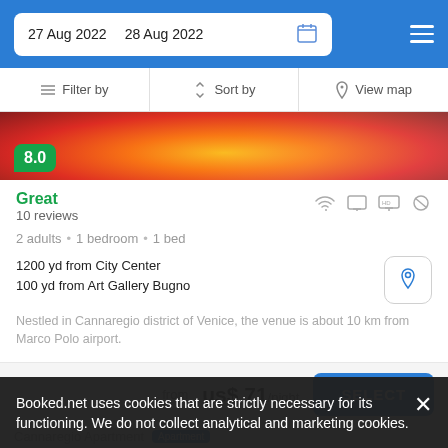27 Aug 2022  28 Aug 2022
Filter by  Sort by  View map
[Figure (photo): Hotel room or venue photo with warm orange/red sunset tones, score badge 8.0 in green]
Great
10 reviews
2 adults · 1 bedroom · 1 bed
1200 yd from City Center
100 yd from Art Gallery Bugno
Nestled in Cannaregio district of Venice, the venue is about 10 km from Marco Polo airport.
from  us$ 71/night
Booked.net uses cookies that are strictly necessary for its functioning. We do not collect analytical and marketing cookies.